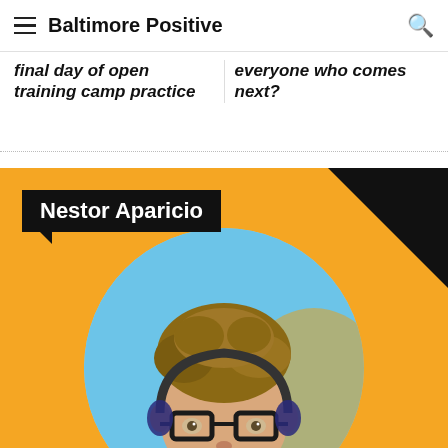Baltimore Positive
final day of open training camp practice
everyone who comes next?
[Figure (photo): Baltimore Positive branded orange panel with name label 'Nestor Aparicio' in black box with pointer, and a circular portrait illustration of a man with glasses, curly hair, wearing headphones, against an orange background with dark triangle accent.]